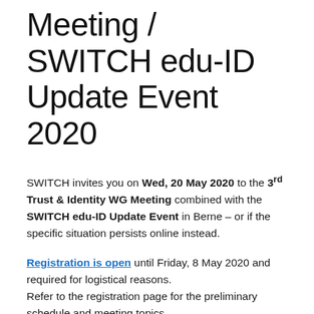Meeting / SWITCH edu-ID Update Event 2020
SWITCH invites you on Wed, 20 May 2020 to the 3rd Trust & Identity WG Meeting combined with the SWITCH edu-ID Update Event in Berne – or if the specific situation persists online instead.
Registration is open until Friday, 8 May 2020 and required for logistical reasons. Refer to the registration page for the preliminary schedule and meeting topics.